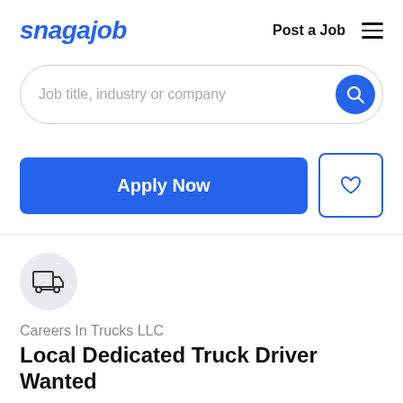snagajob   Post a Job  ☰
Job title, industry or company
Apply Now
[Figure (logo): Truck/delivery vehicle icon inside a light gray circle]
Careers In Trucks LLC
Local Dedicated Truck Driver Wanted
Est. $14.73 - $25.51 / hour